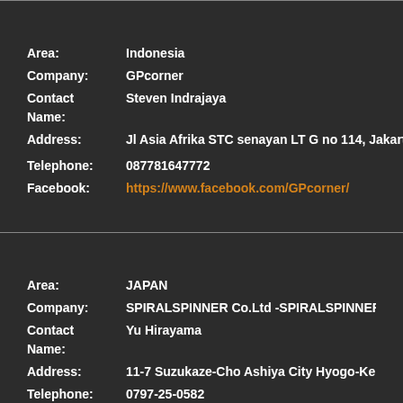Area: Indonesia
Company: GPcorner
Contact Name: Steven Indrajaya
Address: Jl Asia Afrika STC senayan LT G no 114, Jakarta pus
Telephone: 087781647772
Facebook: https://www.facebook.com/GPcorner/
Area: JAPAN
Company: SPIRALSPINNER Co.Ltd -SPIRALSPINNER
Contact Name: Yu Hirayama
Address: 11-7 Suzukaze-Cho Ashiya City Hyogo-Ken Japan
Telephone: 0797-25-0582
Fax: 0797-25-0583
Email: info@spiralspinner.in